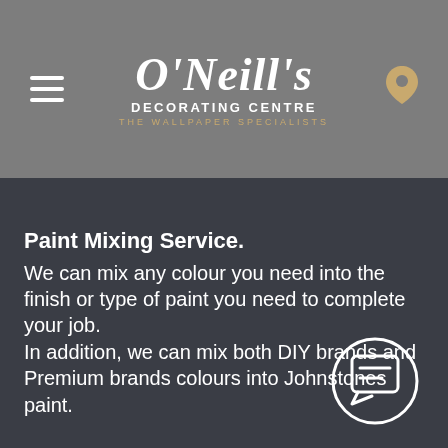O'Neill's DECORATING CENTRE THE WALLPAPER SPECIALISTS
Paint Mixing Service.
We can mix any colour you need into the finish or type of paint you need to complete your job.
In addition, we can mix both DIY brands and Premium brands colours into Johnstones paint.
[Figure (illustration): White circular chat/message icon button in bottom right of main content area]